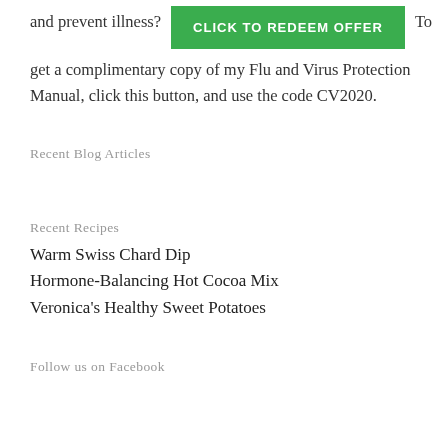and prevent illness?
[Figure (other): Green button with white text: CLICK TO REDEEM OFFER]
To
get a complimentary copy of my Flu and Virus Protection Manual, click this button, and use the code CV2020.
Recent Blog Articles
Recent Recipes
Warm Swiss Chard Dip
Hormone-Balancing Hot Cocoa Mix
Veronica's Healthy Sweet Potatoes
Follow us on Facebook